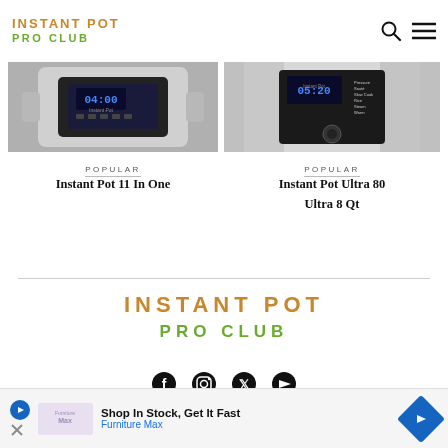INSTANT POT PRO CLUB
[Figure (photo): Instant Pot 11 In One pressure cooker showing control panel with blue LED display reading 04:00]
POPULAR
Instant Pot 11 In One
[Figure (photo): Instant Pot Ultra 80 Ultra 8 Qt stainless steel pressure cooker showing control panel with blue LED display reading 05:20]
POPULAR
Instant Pot Ultra 80 Ultra 8 Qt
INSTANT POT
PRO CLUB
[Figure (other): Social media icons: Facebook, Instagram, X (Twitter), YouTube]
Shop In Stock, Get It Fast — Furniture Max (advertisement)